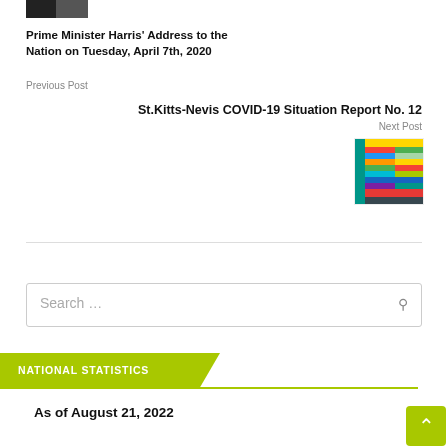[Figure (photo): Small thumbnail photo of Prime Minister Harris]
Prime Minister Harris' Address to the Nation on Tuesday, April 7th, 2020
Previous Post
St.Kitts-Nevis COVID-19 Situation Report No. 12
Next Post
[Figure (screenshot): Thumbnail image of St.Kitts-Nevis COVID-19 Situation Report No. 12 showing a colorful table/infographic]
Search ...
NATIONAL STATISTICS
As of August 21, 2022